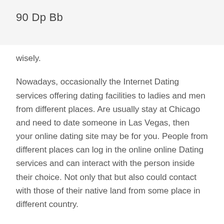90 Dp Bb
wisely.
Nowadays, occasionally the Internet Dating services offering dating facilities to ladies and men from different places. Are usually stay at Chicago and need to date someone in Las Vegas, then your online dating site may be for you. People from different places can log in the online online Dating services and can interact with the person inside their choice. Not only that but also could contact with those of their native land from some place in different country.
Be probably the most of true can stay. Look good and feel confident. If you need to reduce your hair, check out the salon or barber shop to get a new hairstyle. Foods high in protein also possess a facial to cleanse your face as well